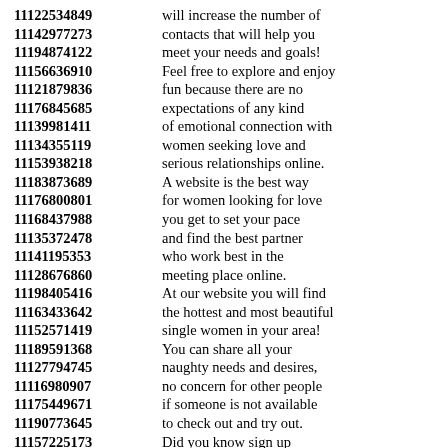11122534849 will increase the number of
11142977273 contacts that will help you
11194874122 meet your needs and goals!
11156636910 Feel free to explore and enjoy
11121879836 fun because there are no
11176845685 expectations of any kind
11139981411 of emotional connection with
11134355119 women seeking love and
11153938218 serious relationships online.
11183873689 A website is the best way
11176800801 for women looking for love
11168437988 you get to set your pace
11135372478 and find the best partner
11141195353 who work best in the
11128676860 meeting place online.
11198405416 At our website you will find
11163433642 the hottest and most beautiful
11152571419 single women in your area!
11189591368 You can share all your
11127794745 naughty needs and desires,
11116980907 no concern for other people
11175449671 if someone is not available
11190773645 to check out and try out.
11157225173 Did you know sign up
11170341804 is completely free and you